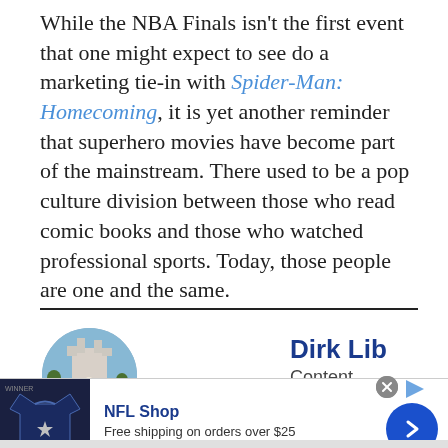While the NBA Finals isn't the first event that one might expect to see do a marketing tie-in with Spider-Man: Homecoming, it is yet another reminder that superhero movies have become part of the mainstream. There used to be a pop culture division between those who read comic books and those who watched professional sports. Today, those people are one and the same.
[Figure (photo): Circular avatar photo of author, appearing to show a person in front of a castle or landmark]
Dirk Lib
Content Producer/
[Figure (photo): NFL Shop advertisement showing a Dallas Cowboys jersey with number 1 and DAD text]
NFL Shop
Free shipping on orders over $25
www.nflshop.com